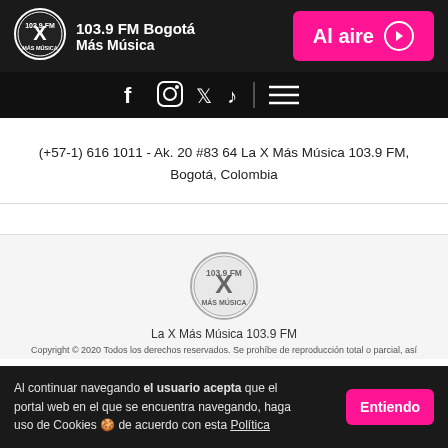103.9 FM Bogotá — Más Música — Al aire
[Figure (logo): La X Más Música 103.9 FM logo — white X in circle on dark background, header version]
[Figure (infographic): Social media icons: Facebook, Instagram, Twitter/X, TikTok, and hamburger menu icon on dark navbar]
(+57-1) 616 1011 - Ak. 20 #83 64 La X Más Música 103.9 FM, Bogotá, Colombia
[Figure (logo): La X Más Música 103.9 FM logo — gray version in footer]
La X Más Música 103.9 FM
Copyright © 2020 Todos los derechos reservados. Se prohíbe de reproducción total o parcial, así
Al continuar navegando el usuario acepta que el portal web en el que se encuentra navegando, haga uso de Cookies 🍪 de acuerdo con esta Política